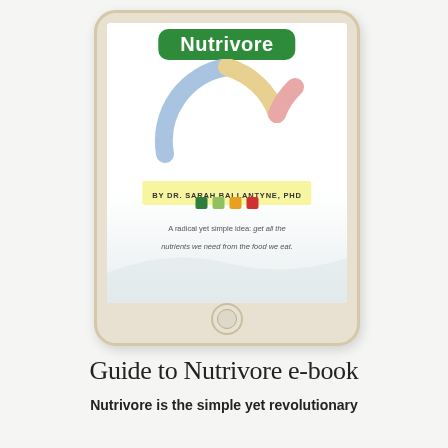[Figure (illustration): A tablet device showing the Nutrivore book cover. The cover features a green rounded rectangle badge with 'Nutrivore' in white text, a partial donut/pie chart with blue, yellow, and pink segments, a yellow highlighted author line reading 'BY DR. SARAH BALLANTYNE, PHD', four colored squares (dark green, light green, orange, red), and italic tagline text. The tablet has a home button at the bottom.]
Guide to Nutrivore e-book
Nutrivore is the simple yet revolutionary